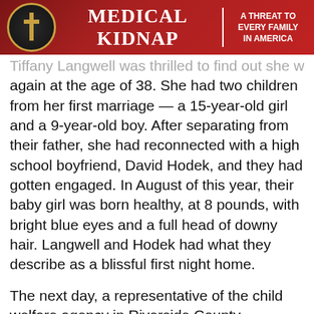MEDICAL KIDNAP | A THREAT TO EVERY FAMILY IN AMERICA
Tiffany Langwell was thrilled to find out she was pregnant again at the age of 38. She had two children from her first marriage — a 15-year-old girl and a 9-year-old boy. After separating from their father, she had reconnected with a high school boyfriend, David Hodek, and they had gotten engaged. In August of this year, their baby girl was born healthy, at 8 pounds, with bright blue eyes and a full head of downy hair. Langwell and Hodek had what they describe as a blissful first night home.
The next day, a representative of the child welfare agency in Riverside County, California, took the infant into protective custody.
Langwell had been having contractions for two days when she told her fiancé at 11:30 p.m. that it was time to head to Desert Regional Medical Center, which she'd chosen because it allowed rooming-in and she didn't want the baby to leave her side. Once there, she asked for an epidural,